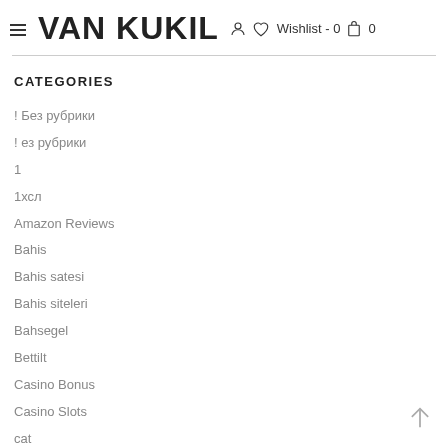VAN KUKIL — Wishlist - 0, Cart - 0
CATEGORIES
! Без рубрики
! ез рубрики
1
1хсл
Amazon Reviews
Bahis
Bahis satesi
Bahis siteleri
Bahsegel
Bettilt
Casino Bonus
Casino Slots
cat